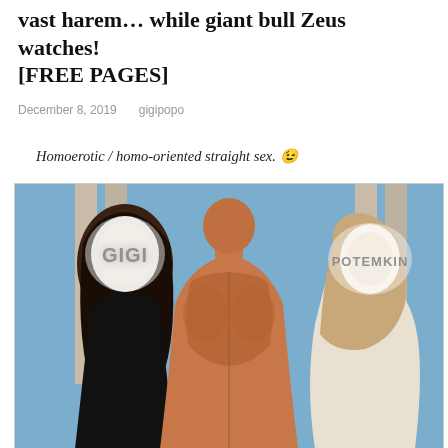vast harem... while giant bull Zeus watches! [FREE PAGES]
December 8, 2019   gigipopo
Homoerotic / homo-oriented straight sex. 😉
[Figure (photo): Book cover image showing muscular man's back facing viewer, flanked by two women with blurred/glowing faces. Left woman in black dress, right woman in white. Text overlays read 'GIGI' on left and 'POTEMKIN' on right in stylized metallic lettering. Greek column architecture in background.]